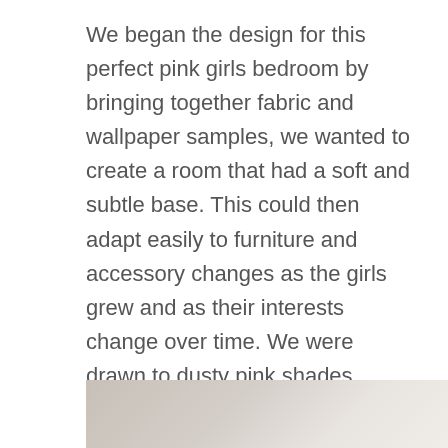We began the design for this perfect pink girls bedroom by bringing together fabric and wallpaper samples, we wanted to create a room that had a soft and subtle base. This could then adapt easily to furniture and accessory changes as the girls grew and as their interests change over time. We were drawn to dusty pink shades, greys, beiges, and warm wooden tones for this room as they're easy neutrals that can pair well with other colours.
[Figure (photo): Partial view of a room photo, showing a light beige/grey surface, cropped at the bottom of the page]